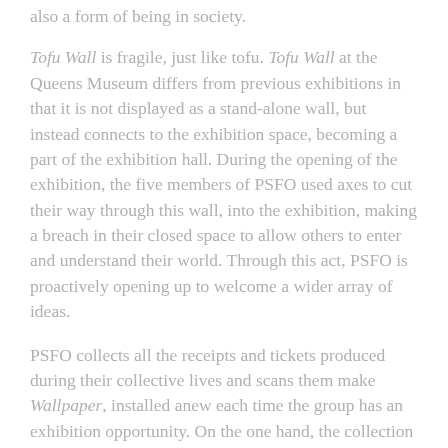also a form of being in society.
Tofu Wall is fragile, just like tofu. Tofu Wall at the Queens Museum differs from previous exhibitions in that it is not displayed as a stand-alone wall, but instead connects to the exhibition space, becoming a part of the exhibition hall. During the opening of the exhibition, the five members of PSFO used axes to cut their way through this wall, into the exhibition, making a breach in their closed space to allow others to enter and understand their world. Through this act, PSFO is proactively opening up to welcome a wider array of ideas.
PSFO collects all the receipts and tickets produced during their collective lives and scans them make Wallpaper, installed anew each time the group has an exhibition opportunity. On the one hand, the collection of receipts shows financial transparency in the group's daily expenses; on the other hand, it constitutes a memory of their collective lives.